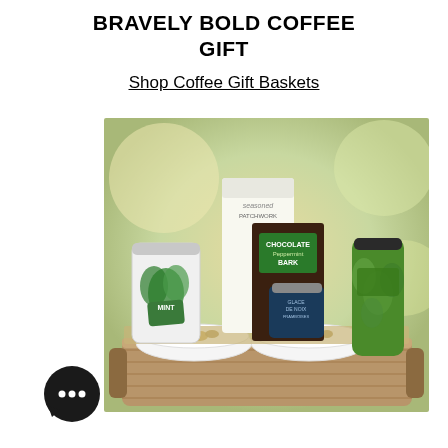BRAVELY BOLD COFFEE GIFT
Shop Coffee Gift Baskets
[Figure (photo): A wicker gift basket containing: a mint tea canister, a bag of Seasoned coffee, a chocolate peppermint bark bar, a blue jar of sauce, a green travel tumbler, and small bowls of nuts and pistachios arranged with raffia grass.]
[Figure (other): Chat bubble icon with three dots (chat widget button)]